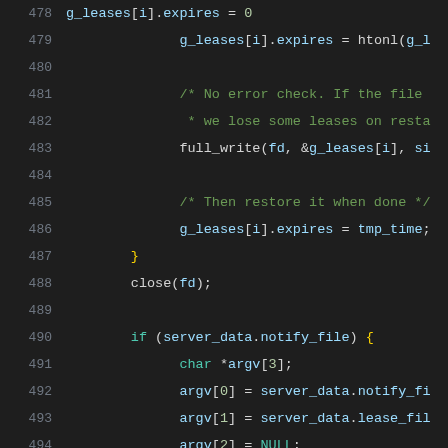[Figure (screenshot): Source code listing (C language) showing lines 478-499, dark theme editor. Lines show DHCP lease file writing and notification logic.]